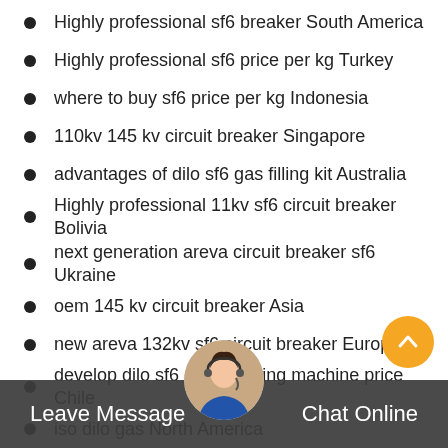Highly professional sf6 breaker South America
Highly professional sf6 price per kg Turkey
where to buy sf6 price per kg Indonesia
110kv 145 kv circuit breaker Singapore
advantages of dilo sf6 gas filling kit Australia
Highly professional 11kv sf6 circuit breaker Bolivia
next generation areva circuit breaker sf6 Ukraine
oem 145 kv circuit breaker Asia
new areva 132kv sf6 circuit breaker Europe
develop dilo sf6 gas handling machine price Chile
iso dilo gas North America
oem iec standard for sf6 gas Russia
next generation sulphur hexafluoride is Japan
cheap switchgear Colombia
Leave Message
Chat Online